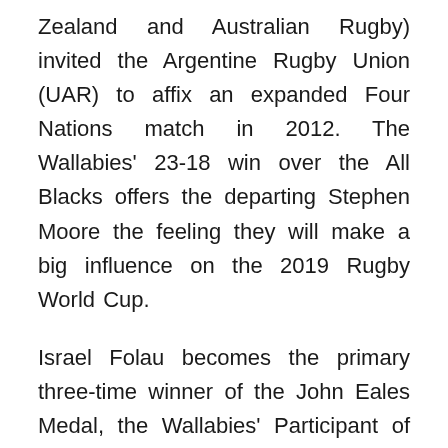Zealand and Australian Rugby) invited the Argentine Rugby Union (UAR) to affix an expanded Four Nations match in 2012. The Wallabies' 23-18 win over the All Blacks offers the departing Stephen Moore the feeling they will make a big influence on the 2019 Rugby World Cup.
Israel Folau becomes the primary three-time winner of the John Eales Medal, the Wallabies' Participant of the 12 months award, in simply his fifth season in the code. 146 The premier international competitors in rugby union for ladies is the Girls's Rugby World Cup , first held in 1991. ^ The two South African groups that were dropped from